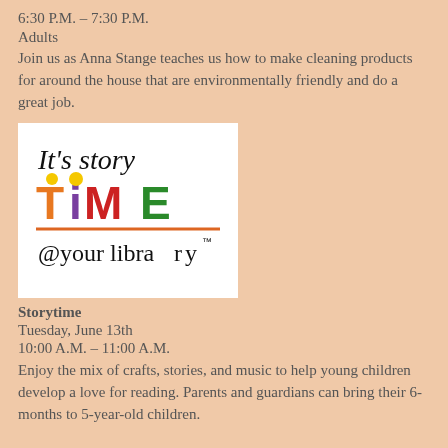6:30 P.M. – 7:30 P.M.
Adults
Join us as Anna Stange teaches us how to make cleaning products for around the house that are environmentally friendly and do a great job.
[Figure (logo): It's Story TIME @ your library logo with colorful letters]
Storytime
Tuesday, June 13th
10:00 A.M. – 11:00 A.M.
Enjoy the mix of crafts, stories, and music to help young children develop a love for reading. Parents and guardians can bring their 6-months to 5-year-old children.